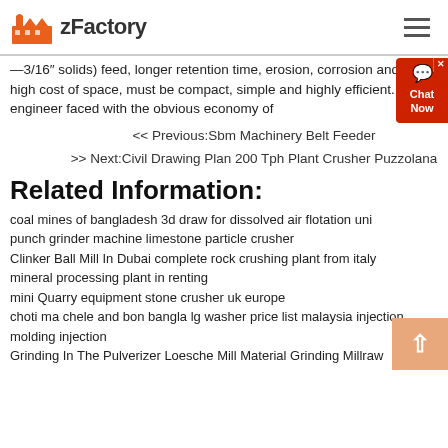zFactory
—3/16″ solids) feed, longer retention time, erosion, corrosion and the high cost of space, must be compact, simple and highly efficient. The engineer faced with the obvious economy of
<< Previous:Sbm Machinery Belt Feeder
>> Next:Civil Drawing Plan 200 Tph Plant Crusher Puzzolana
Related Information:
coal mines of bangladesh 3d draw for dissolved air flotation uni
punch grinder machine limestone particle crusher
Clinker Ball Mill In Dubai complete rock crushing plant from italy
mineral processing plant in renting
mini Quarry equipment stone crusher uk europe
choti ma chele and bon bangla lg washer price list malaysia injection molding injection
Grinding In The Pulverizer Loesche Mill Material Grinding Millraw